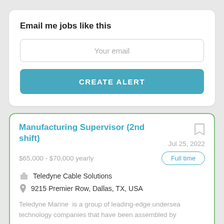Email me jobs like this
Your email
CREATE ALERT
Manufacturing Supervisor (2nd shift)
Jul 25, 2022
$65,000 - $70,000 yearly
Full time
Teledyne Cable Solutions
9215 Premier Row, Dallas, TX, USA
Teledyne Marine  is a group of leading-edge undersea technology companies that have been assembled by